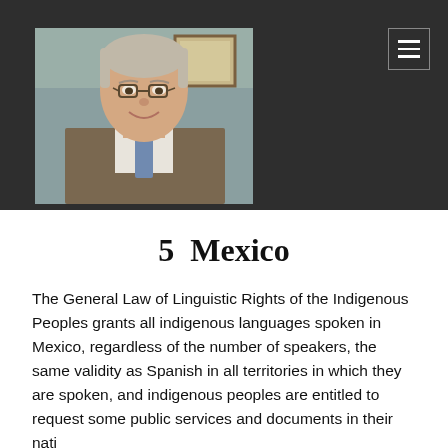[Figure (photo): Portrait photo of an elderly man with glasses, wearing a tweed jacket and blue tie, smiling, indoors with a framed picture in the background.]
5  Mexico
The General Law of Linguistic Rights of the Indigenous Peoples grants all indigenous languages spoken in Mexico, regardless of the number of speakers, the same validity as Spanish in all territories in which they are spoken, and indigenous peoples are entitled to request some public services and documents in their native...